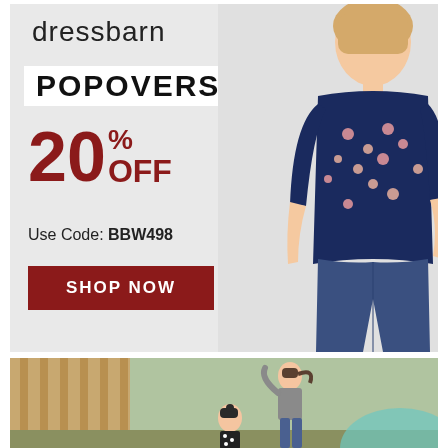[Figure (photo): Dressbarn advertisement showing a woman wearing a navy floral popover top with jeans. Text overlay shows: 'dressbarn', 'POPOVERS', '20% OFF', 'Use Code: BBW498', and a red 'SHOP NOW' button on a light grey background.]
[Figure (photo): Bottom portion of a second advertisement showing a woman and a child on what appears to be an outdoor playground structure.]